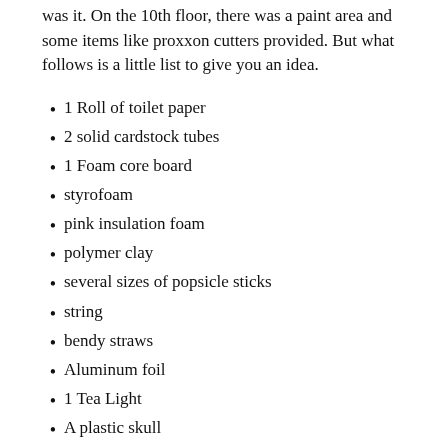was it. On the 10th floor, there was a paint area and some items like proxxon cutters provided. But what follows is a little list to give you an idea.
1 Roll of toilet paper
2 solid cardstock tubes
1 Foam core board
styrofoam
pink insulation foam
polymer clay
several sizes of popsicle sticks
string
bendy straws
Aluminum foil
1 Tea Light
A plastic skull
some random plastic items
Army painter tufts of grass & flock.
A sheet of cardboard